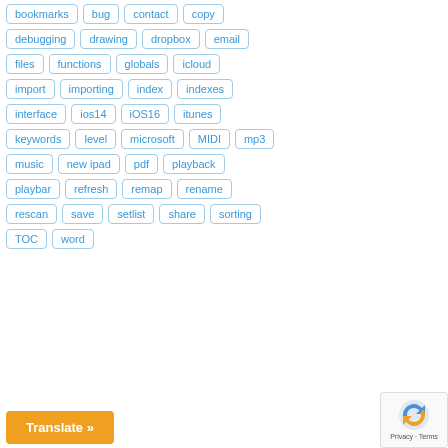bookmarks
bug
contact
copy
debugging
drawing
dropbox
email
files
functions
globals
icloud
import
importing
index
indexes
interface
ios14
iOS16
itunes
keywords
level
microsoft
MIDI
mp3
music
new ipad
pdf
playback
playbar
refresh
remap
rename
rescan
save
setlist
share
sorting
TOC
word
Translate »